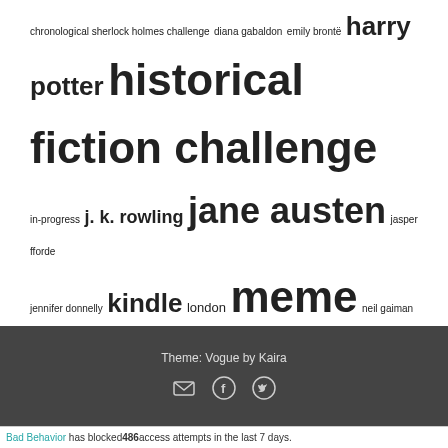chronological sherlock holmes challenge diana gabaldon emily brontë harry potter historical fiction challenge in-progress j. k. rowling jane austen jasper fforde jennifer donnelly kindle london meme neil gaiman outlander reading reading challenges review rip challenge shakespeare sharyn mccrumb sherlock sherlock holmes to-read update william shakespeare writing wuthering heights
Theme: Vogue by Kaira
Bad Behavior has blocked 486 access attempts in the last 7 days.